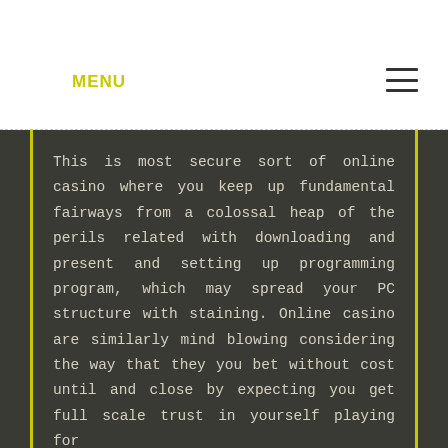MENU
This is most secure sort of online casino where you keep up fundamental fairways from a colossal heap of the perils related with downloading and present and setting up programming program, which may spread your PC structure with staining. Online casino are similarly mind blowing considering the way that they you bet without cost until and close by expecting you get full scale trust in yourself playing for